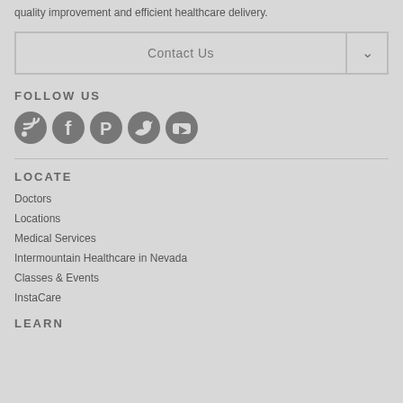quality improvement and efficient healthcare delivery.
Contact Us
FOLLOW US
[Figure (illustration): Five social media icons: RSS/Blog, Facebook, Pinterest, Twitter, YouTube — dark grey circles]
LOCATE
Doctors
Locations
Medical Services
Intermountain Healthcare in Nevada
Classes & Events
InstaCare
LEARN